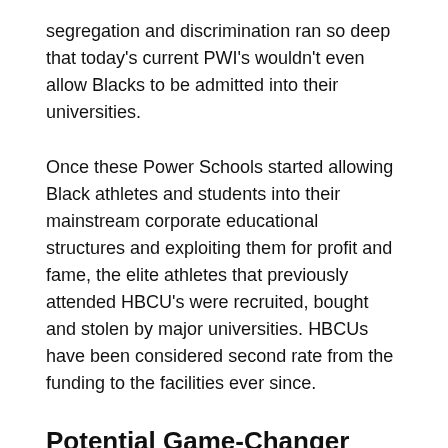segregation and discrimination ran so deep that today's current PWI's wouldn't even allow Blacks to be admitted into their universities.
Once these Power Schools started allowing Black athletes and students into their mainstream corporate educational structures and exploiting them for profit and fame, the elite athletes that previously attended HBCU's were recruited, bought and stolen by major universities. HBCUs have been considered second rate from the funding to the facilities ever since.
Potential Game-Changer
Let's imagine that Bronny James, a 6-2 freshman at Sierra Canyon (CA) High School, who is also the son of one of the greatest players to ever lace them up, already has a global